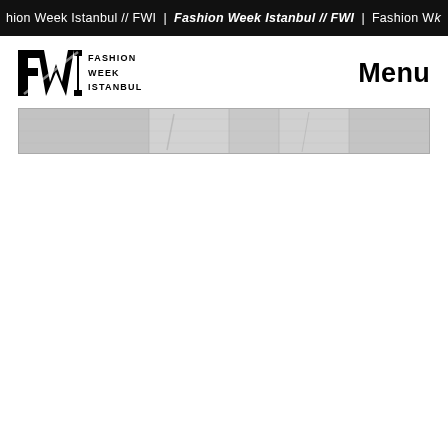hion Week Istanbul // FWI | Fashion Week Istanbul // FWI | Fashion Wk
[Figure (logo): Fashion Week Istanbul FWI logo with stylized FWI letters and text 'FASHION WEEK ISTANBUL']
Menu
[Figure (photo): A grayscale horizontal image strip showing what appears to be a fashion runway or textured surface, used as a navigation banner]